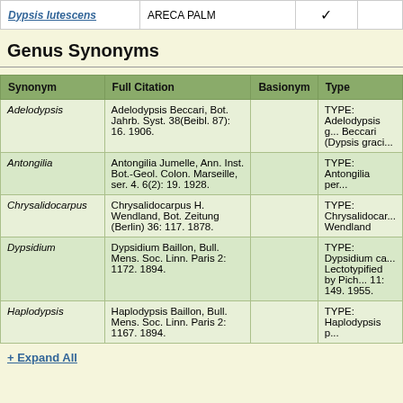|  | ARECA PALM |  | ✔ |
| --- | --- | --- | --- |
| Dypsis lutescens | ARECA PALM |  | ✔ |
Genus Synonyms
| Synonym | Full Citation | Basionym | Type |
| --- | --- | --- | --- |
| Adelodypsis | Adelodypsis Beccari, Bot. Jahrb. Syst. 38(Beibl. 87): 16. 1906. |  | TYPE: Adelodypsis g... Beccari (Dypsis graci... |
| Antongilia | Antongilia Jumelle, Ann. Inst. Bot.-Geol. Colon. Marseille, ser. 4. 6(2): 19. 1928. |  | TYPE: Antongilia per... |
| Chrysalidocarpus | Chrysalidocarpus H. Wendland, Bot. Zeitung (Berlin) 36: 117. 1878. |  | TYPE: Chrysalidocar... Wendland |
| Dypsidium | Dypsidium Baillon, Bull. Mens. Soc. Linn. Paris 2: 1172. 1894. |  | TYPE: Dypsidium ca... Lectotypified by Pich... 11: 149. 1955. |
| Haplodypsis | Haplodypsis Baillon, Bull. Mens. Soc. Linn. Paris 2: 1167. 1894. |  | TYPE: Haplodypsis p... |
+ Expand All